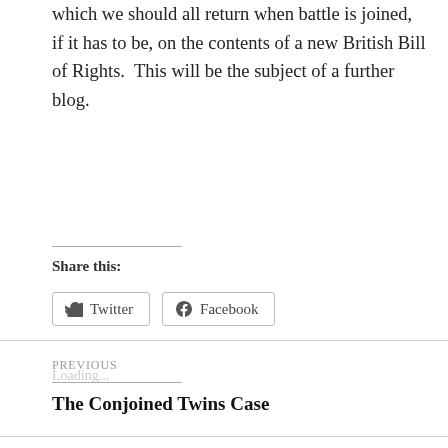which we should all return when battle is joined, if it has to be, on the contents of a new British Bill of Rights.  This will be the subject of a further blog.
Share this:
Twitter
Facebook
Loading...
PREVIOUS
The Conjoined Twins Case